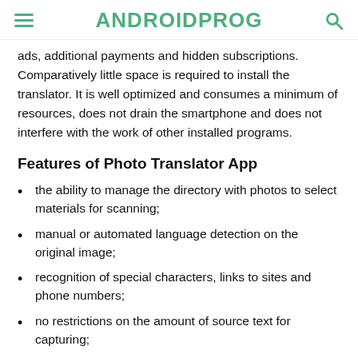ANDROIDPROG
ads, additional payments and hidden subscriptions. Comparatively little space is required to install the translator. It is well optimized and consumes a minimum of resources, does not drain the smartphone and does not interfere with the work of other installed programs.
Features of Photo Translator App
the ability to manage the directory with photos to select materials for scanning;
manual or automated language detection on the original image;
recognition of special characters, links to sites and phone numbers;
no restrictions on the amount of source text for capturing;